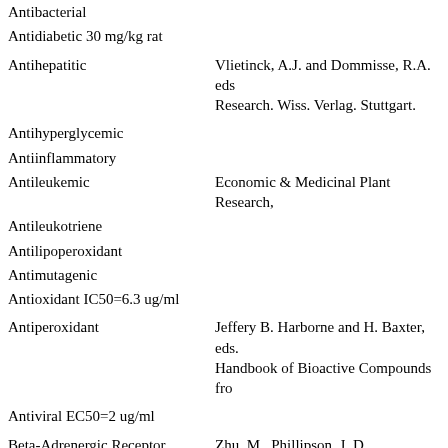| Activity | Reference |
| --- | --- |
| Antibacterial |  |
| Antidiabetic 30 mg/kg rat |  |
| Antihepatitic | Vlietinck, A.J. and Dommisse, R.A. eds. Research. Wiss. Verlag. Stuttgart. |
| Antihyperglycemic |  |
| Antiinflammatory |  |
| Antileukemic | Economic & Medicinal Plant Research, |
| Antileukotriene |  |
| Antilipoperoxidant |  |
| Antimutagenic |  |
| Antioxidant IC50=6.3 ug/ml |  |
| Antiperoxidant | Jeffery B. Harborne and H. Baxter, eds. Handbook of Bioactive Compounds fro |
| Antiviral EC50=2 ug/ml |  |
| Beta-Adrenergic Receptor Blocker 10 uM | Zhu, M., Phillipson, J. D., Greengrass, Polyphenols: Biologically Active Comp Protein? Phytochemistry, 44(3): 441-44 |
| COMP-Inhibitor | Dullo, A. G., et al. 1999. Efficacy of a g polyphenols and caffeine in increasing in humans. Am. J. Clinical Nutrition, 70 |
| Cancer-Preventive | Stitt, P. A. Why George Should Eat Bro |